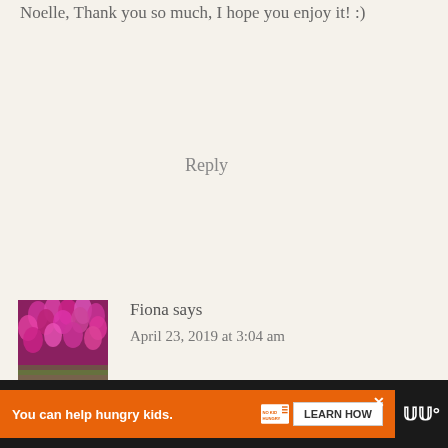Noelle, Thank you so much, I hope you enjoy it! :)
Reply
Fiona says
April 23, 2019 at 3:04 am
[Figure (photo): Avatar photo showing pink/magenta flowers]
When I make Butter Chicken, one of my family's favourites too, it takes quite a bit of time and effort. I'll definitely be giving this
[Figure (infographic): Ad banner: orange background with text 'You can help hungry kids.' No Kid Hungry logo, LEARN HOW button, close X button, and additional logo on dark bar]